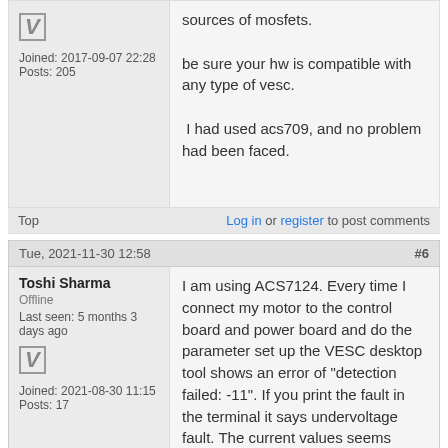sources of mosfets.

be sure your hw is compatible with any type of vesc.

I had used acs709, and no problem had been faced.
Top
Log in or register to post comments
Tue, 2021-11-30 12:58  #6
Toshi Sharma
Offline
Last seen: 5 months 3 days ago
Joined: 2021-08-30 11:15
Posts: 17
I am using ACS7124. Every time I connect my motor to the control board and power board and do the parameter set up the VESC desktop tool shows an error of "detection failed: -11". If you print the fault in the terminal it says undervoltage fault. The current values seems quite high and voltage is very low about 4-5 volts.